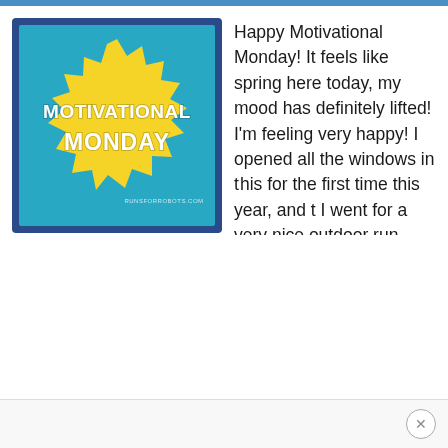[Figure (illustration): Motivational Monday badge: a yellow starburst shape on a teal/blue background with a dark blue border frame. White bold text reads 'MOTIVATIONAL MONDAY'. Small text at bottom: 'RUNSFORROBOTS.COM']
Happy Motivational Monday! It feels like spring here today, my mood has definitely lifted! I'm feeling very happy! I opened all the windows in the house for the first time this year, and this weekend I went for a very nice outdoor run. This week, I'm proud that I tracked my points all week but had a few rough times...
×